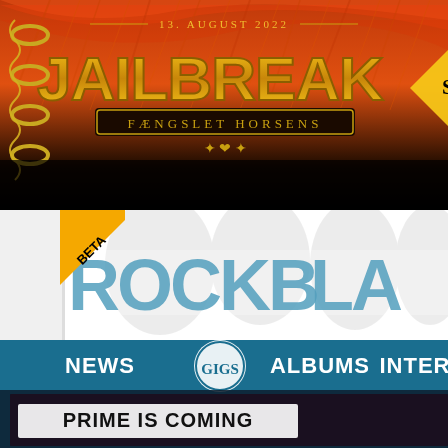[Figure (illustration): Jailbreak festival poster with orange/red flame background. Text reads '13. AUGUST 2022', 'JAILBREAK', 'FÆNGSLET HORSENS'. Decorative metal ring binders on left side. Partial yellow diamond logo on right.]
[Figure (screenshot): White background with large blue distressed text logo (partially visible). A yellow/orange diagonal banner in upper left corner with 'BETA' text in black. Large grey watermark silhouettes of band members in background.]
[Figure (screenshot): Teal/dark blue navigation bar with navigation items: NEWS, GIGS (in circular badge), ALBUMS, INTER (partially cut off). Below is a dark image panel with text 'PRIME IS COMING' in large white bold letters on dark background.]